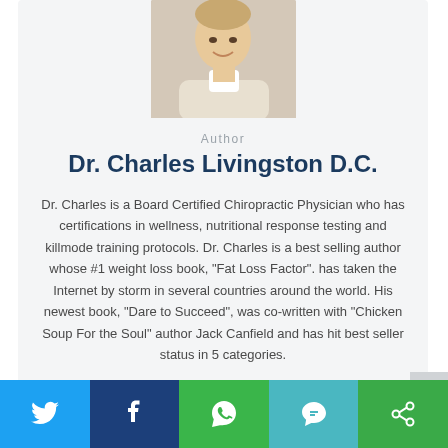[Figure (photo): Headshot photo of Dr. Charles Livingston D.C., a man in a white/light jacket smiling]
Author
Dr. Charles Livingston D.C.
Dr. Charles is a Board Certified Chiropractic Physician who has certifications in wellness, nutritional response testing and killmode training protocols. Dr. Charles is a best selling author whose #1 weight loss book, "Fat Loss Factor". has taken the Internet by storm in several countries around the world. His newest book, "Dare to Succeed", was co-written with "Chicken Soup For the Soul" author Jack Canfield and has hit best seller status in 5 categories.
[Figure (infographic): Social sharing bar with Twitter, Facebook, WhatsApp, SMS, and share icons on colored backgrounds]